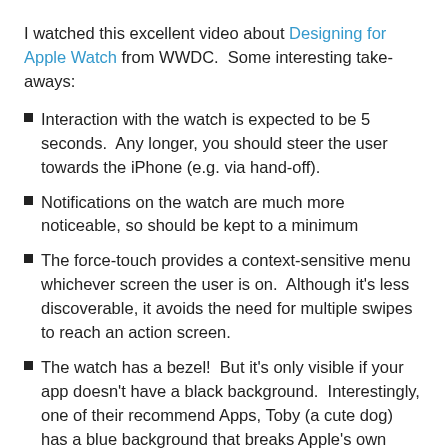I watched this excellent video about Designing for Apple Watch from WWDC.  Some interesting take-aways:
Interaction with the watch is expected to be 5 seconds.  Any longer, you should steer the user towards the iPhone (e.g. via hand-off).
Notifications on the watch are much more noticeable, so should be kept to a minimum
The force-touch provides a context-sensitive menu whichever screen the user is on.  Although it's less discoverable, it avoids the need for multiple swipes to reach an action screen.
The watch has a bezel!  But it's only visible if your app doesn't have a black background.  Interestingly, one of their recommend Apps, Toby (a cute dog) has a blue background that breaks Apple's own guidelines.